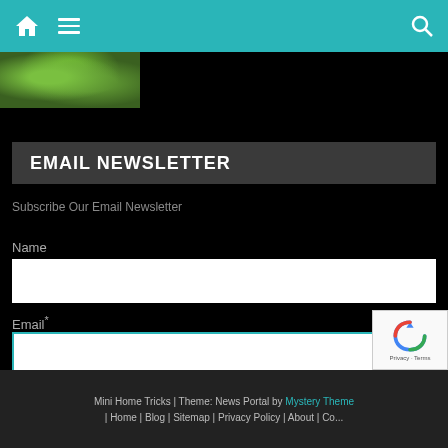Navigation bar with home icon, hamburger menu, and search icon
[Figure (photo): Partial thumbnail image strip showing green foliage/garden photo at top left]
EMAIL NEWSLETTER
Subscribe Our Email Newsletter
Name
Email*
Join Us
Mini Home Tricks | Theme: News Portal by Mystery Theme | Home | Blog | Sitemap | Privacy Policy | About | Contact Us